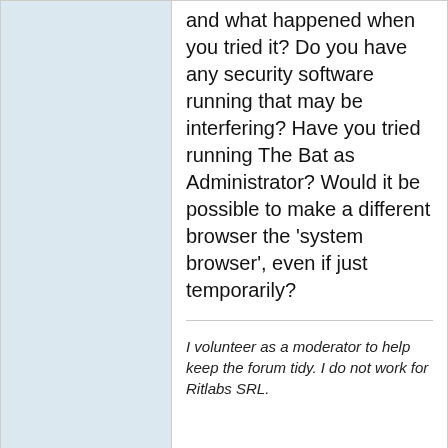up? Which browser is that, and what happened when you tried it? Do you have any security software running that may be interfering? Have you tried running The Bat as Administrator? Would it be possible to make a different browser the 'system browser', even if just temporarily?
I volunteer as a moderator to help keep the forum tidy. I do not work for Ritlabs SRL.
Jose Vicente Blanco
18 May 2022 12:45:28
#25